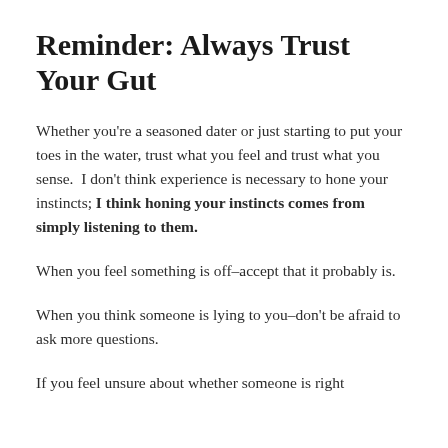Reminder: Always Trust Your Gut
Whether you're a seasoned dater or just starting to put your toes in the water, trust what you feel and trust what you sense.  I don't think experience is necessary to hone your instincts; I think honing your instincts comes from simply listening to them.
When you feel something is off–accept that it probably is.
When you think someone is lying to you–don't be afraid to ask more questions.
If you feel unsure about whether someone is right…